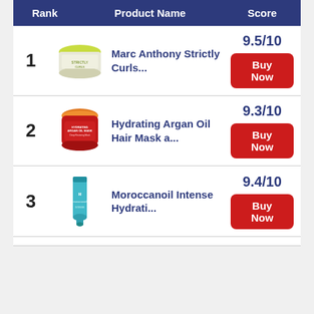| Rank | Product Name | Score |
| --- | --- | --- |
| 1 | Marc Anthony Strictly Curls... | 9.5/10 |
| 2 | Hydrating Argan Oil Hair Mask a... | 9.3/10 |
| 3 | Moroccanoil Intense Hydrati... | 9.4/10 |